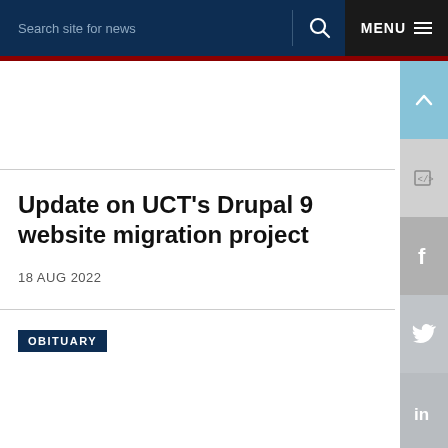Search site for news   MENU
Update on UCT's Drupal 9 website migration project
18 AUG 2022
OBITUARY